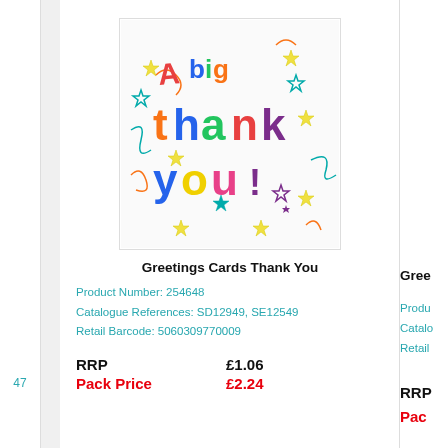[Figure (illustration): A greetings card with colourful text reading 'A big thank you!' decorated with stars and ribbons on a white background]
Greetings Cards Thank You
Product Number: 254648
Catalogue References: SD12949, SE12549
Retail Barcode: 5060309770009
| Label | Value |
| --- | --- |
| RRP | £1.06 |
| Pack Price | £2.24 |